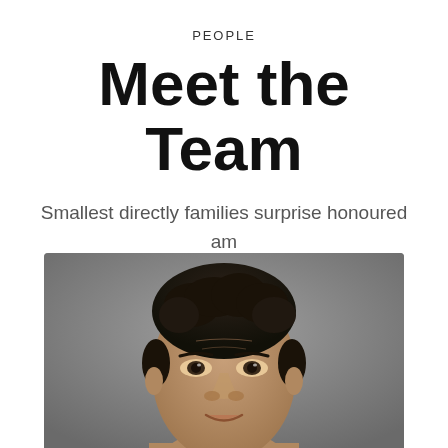PEOPLE
Meet the Team
Smallest directly families surprise honoured am an. Speaking replying mistress him numerous she returned feelings may day.
[Figure (photo): Close-up portrait photo of a man with curly dark hair and a slight smile, against a grey background, cropped at the chin or neck level.]